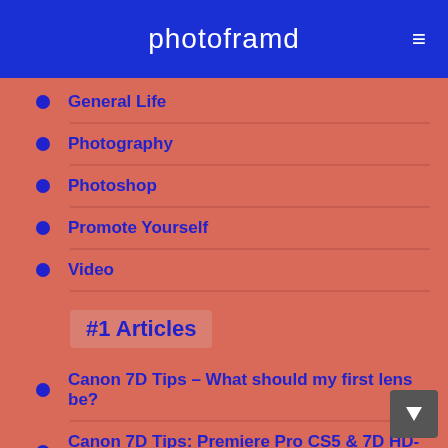photoframd
General Life
Photography
Photoshop
Promote Yourself
Video
#1 Articles
Canon 7D Tips – What should my first lens be?
Canon 7D Tips: Premiere Pro CS5 & 7D HD-Video the Easy Way
Canon 7D Tips: Problem focusing? Customize the AF!
Canon 7D –Tips on Creating/Editing Time Lapse Video
Canon 7D –Tips on Shooting Time Lapse Video
Photoshop CS5 – Custom Keyboard Shortcut Reference Guide Flash and Illustrator too.